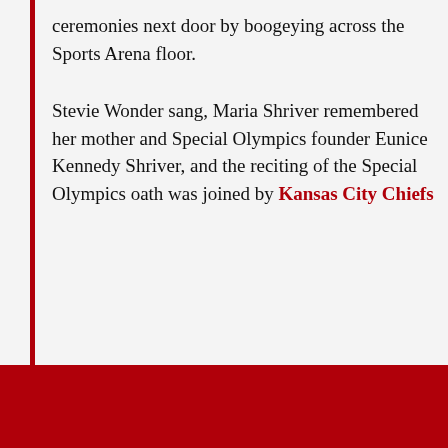ceremonies next door by boogeying across the Sports Arena floor.
Stevie Wonder sang, Maria Shriver remembered her mother and Special Olympics founder Eunice Kennedy Shriver, and the reciting of the Special Olympics oath was joined by Kansas City Chiefs
close ✕
Sign up for the Arrowhead Pride Daily Roundup newsletter!
A daily roundup of all your Kansas City Chiefs news from Arrowhead Pride
Email (required)
SUBSCRIBE
By submitting your email, you agree to our Terms and Privacy Notice. You can opt out at any time. This site is protected by reCAPTCHA and the Google Privacy Policy and Terms of Service apply.